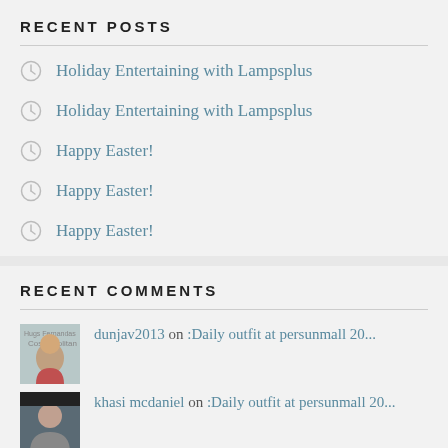RECENT POSTS
Holiday Entertaining with Lampsplus
Holiday Entertaining with Lampsplus
Happy Easter!
Happy Easter!
Happy Easter!
RECENT COMMENTS
dunjav2013 on :Daily outfit at persunmall 20...
khasi mcdaniel on :Daily outfit at persunmall 20...
‘Revenge’ Season 3 P... on ‘Revenge’ Season 3…